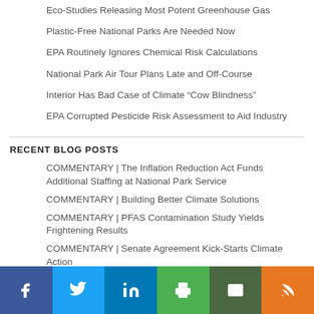Eco-Studies Releasing Most Potent Greenhouse Gas
Plastic-Free National Parks Are Needed Now
EPA Routinely Ignores Chemical Risk Calculations
National Park Air Tour Plans Late and Off-Course
Interior Has Bad Case of Climate “Cow Blindness”
EPA Corrupted Pesticide Risk Assessment to Aid Industry
RECENT BLOG POSTS
COMMENTARY | The Inflation Reduction Act Funds Additional Staffing at National Park Service
COMMENTARY | Building Better Climate Solutions
COMMENTARY | PFAS Contamination Study Yields Frightening Results
COMMENTARY | Senate Agreement Kick-Starts Climate Action
ers and the need for change at EPA